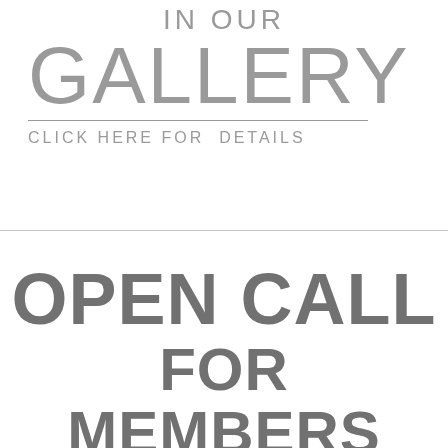IN OUR
GALLERY
CLICK HERE FOR  DETAILS
OPEN CALL FOR MEMBERS